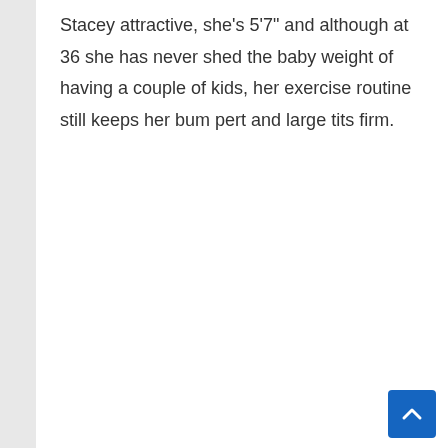Stacey attractive, she's 5'7" and although at 36 she has never shed the baby weight of having a couple of kids, her exercise routine still keeps her bum pert and large tits firm.
REPLY
porn classic says:
April 6, 2022 at 2:33 pm
With a head full of emotions, anger, lust and confusion. I flipped her over to face me, she